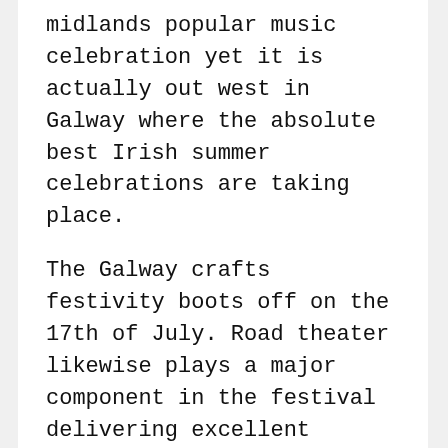midlands popular music celebration yet it is actually out west in Galway where the absolute best Irish summer celebrations are taking place.
The Galway crafts festivity boots off on the 17th of July. Road theater likewise plays a major component in the festival delivering excellent enjoyment for the summertime consumers. The greatest festivity in Galway possesses to be the Galway ethnicities. The honor of the Galway shellfish event is the Native shellfishes phoned “Ostrea Edulis”.